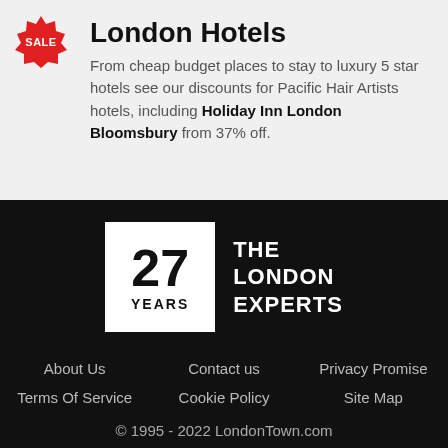[Figure (logo): Red starburst sale badge with 'SALE' text in white]
London Hotels
From cheap budget places to stay to luxury 5 star hotels see our discounts for Pacific Hair Artists hotels, including Holiday Inn London Bloomsbury from 37% off.
[Figure (logo): 27 YEARS / THE LONDON EXPERTS logo — white box with bold 27 and YEARS, next to white text THE LONDON EXPERTS on black background]
About Us
Contact us
Privacy Promise
Terms Of Service
Cookie Policy
Site Map
© 1995 - 2022 LondonTown.com